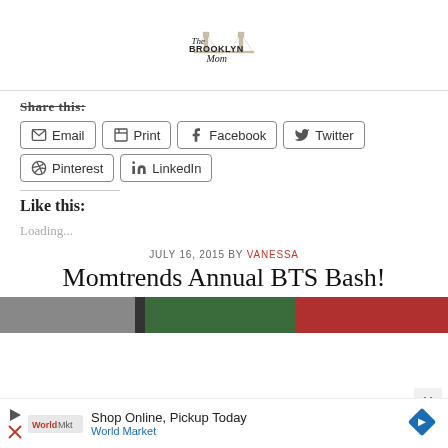The Brooklyn Mom
Share this:
Email
Print
Facebook
Twitter
Pinterest
LinkedIn
Like this:
Loading...
JULY 16, 2015 BY VANESSA
Momtrends Annual BTS Bash!